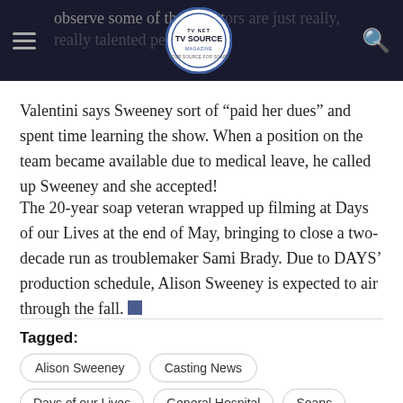observe some of the directors are just really, really talented people. [TV Source Magazine logo]
Valentini says Sweeney sort of “paid her dues” and spent time learning the show. When a position on the team became available due to medical leave, he called up Sweeney and she accepted!
The 20-year soap veteran wrapped up filming at Days of our Lives at the end of May, bringing to close a two-decade run as troublemaker Sami Brady. Due to DAYS’ production schedule, Alison Sweeney is expected to air through the fall.
Tagged:
Alison Sweeney
Casting News
Days of our Lives
General Hospital
Soaps